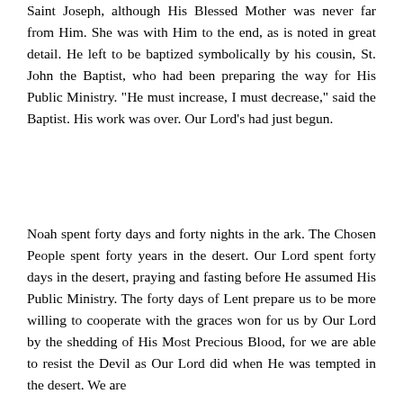Saint Joseph, although His Blessed Mother was never far from Him. She was with Him to the end, as is noted in great detail. He left to be baptized symbolically by his cousin, St. John the Baptist, who had been preparing the way for His Public Ministry. "He must increase, I must decrease," said the Baptist. His work was over. Our Lord's had just begun.
Noah spent forty days and forty nights in the ark. The Chosen People spent forty years in the desert. Our Lord spent forty days in the desert, praying and fasting before He assumed His Public Ministry. The forty days of Lent prepare us to be more willing to cooperate with the graces won for us by Our Lord by the shedding of His Most Precious Blood, for we are able to resist the Devil as Our Lord did when He was tempted in the desert. We are